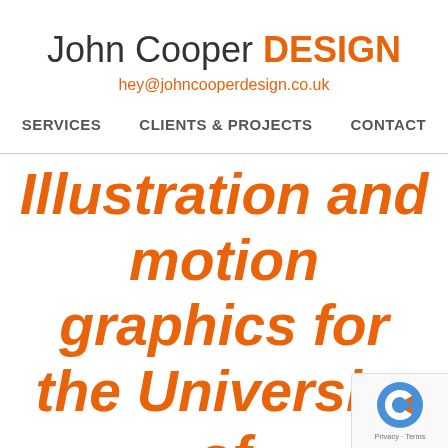John Cooper DESIGN
hey@johncooperdesign.co.uk
SERVICES   CLIENTS & PROJECTS   CONTACT
Illustration and motion graphics for the University of Manchester